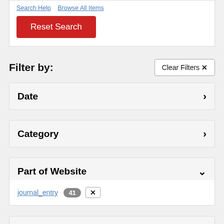Search Help   Browse All Items
Reset Search
Filter by:
Clear Filters ✕
Date ›
Category ›
Part of Website ∨
journal_entry 41 ✕